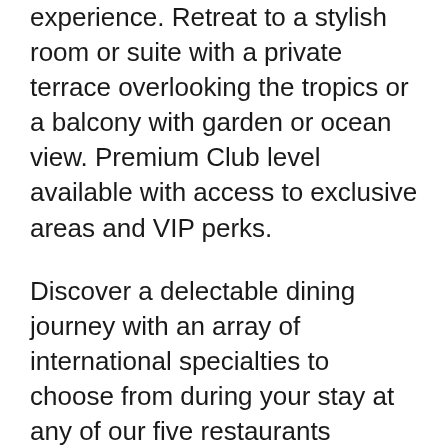experience. Retreat to a stylish room or suite with a private terrace overlooking the tropics or a balcony with garden or ocean view. Premium Club level available with access to exclusive areas and VIP perks.
Discover a delectable dining journey with an array of international specialties to choose from during your stay at any of our five restaurants without reservations required. Limitless international and domestic top-shelf spirits served at eight bars and lounges.
Splash into a family fun experience at the only water park in the destination, featuring